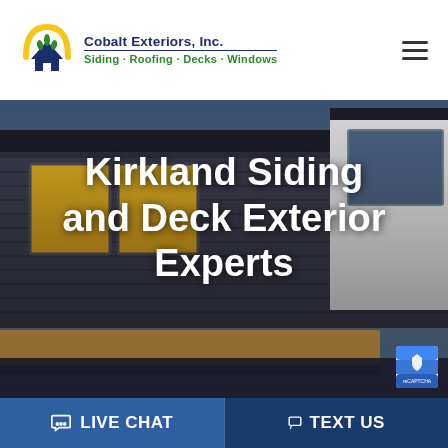[Figure (logo): Cobalt Exteriors, Inc. logo with house/palm tree icon, company name in navy blue, tagline 'Siding - Roofing - Decks - Windows' in green]
[Figure (photo): Hero background photo of a modern house exterior with dark siding, large windows, and a flat roof overhang against a blue-gray sky]
Kirkland Siding and Deck Exterior Experts
LIVE CHAT
TEXT US